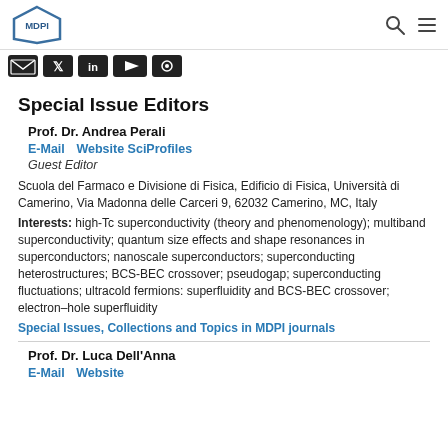MDPI [logo] [search icon] [menu icon]
[Figure (logo): MDPI logo — hexagonal outline with MDPI text inside]
[Figure (illustration): Row of social media icons: email/envelope, Twitter/X, LinkedIn, YouTube/play, another social icon — all dark/black rounded rectangles]
Special Issue Editors
Prof. Dr. Andrea Perali
E-Mail   Website SciProfiles
Guest Editor
Scuola del Farmaco e Divisione di Fisica, Edificio di Fisica, Università di Camerino, Via Madonna delle Carceri 9, 62032 Camerino, MC, Italy
Interests: high-Tc superconductivity (theory and phenomenology); multiband superconductivity; quantum size effects and shape resonances in superconductors; nanoscale superconductors; superconducting heterostructures; BCS-BEC crossover; pseudogap; superconducting fluctuations; ultracold fermions: superfluidity and BCS-BEC crossover; electron–hole superfluidity
Special Issues, Collections and Topics in MDPI journals
Prof. Dr. Luca Dell'Anna
E-Mail   Website